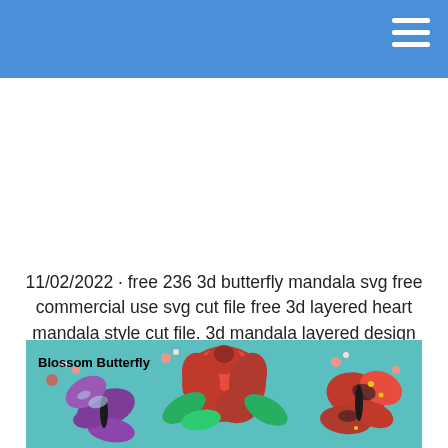11/02/2022 · free 236 3d butterfly mandala svg free commercial use svg cut file free 3d layered heart mandala style cut file. 3d mandala layered design butterfly mandala svg file 532699.
[Figure (photo): Photo showing decorative paper butterflies (purple and red/black monarch style) and a red paper rose on a teal/turquoise background, with small pink flowers. Text overlay reads 'Blossom Butterfly'.]